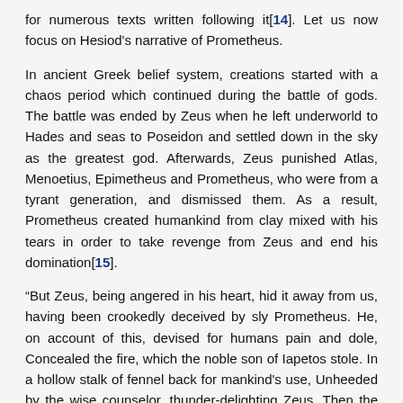for numerous texts written following it[14]. Let us now focus on Hesiod's narrative of Prometheus.
In ancient Greek belief system, creations started with a chaos period which continued during the battle of gods. The battle was ended by Zeus when he left underworld to Hades and seas to Poseidon and settled down in the sky as the greatest god. Afterwards, Zeus punished Atlas, Menoetius, Epimetheus and Prometheus, who were from a tyrant generation, and dismissed them. As a result, Prometheus created humankind from clay mixed with his tears in order to take revenge from Zeus and end his domination[15].
“But Zeus, being angered in his heart, hid it away from us, having been crookedly deceived by sly Prometheus. He, on account of this, devised for humans pain and dole, Concealed the fire, which the noble son of Iapetos stole. In a hollow stalk of fennel back for mankind’s use, Unheeded by the wise counselor, thunder-delighting Zeus. Then the Cloud-Gatherer in rage addressed the Titan thus: Your schemes surpass all other schemes, son of Iapetos; Now you rejoice at having stolen fire, outwitting me: Much misery both for yourself, yourself and men to be. To them in recompense for fire, I shall bequeath a woe, which they will cherish in their hearts with and it to the ode [16].”